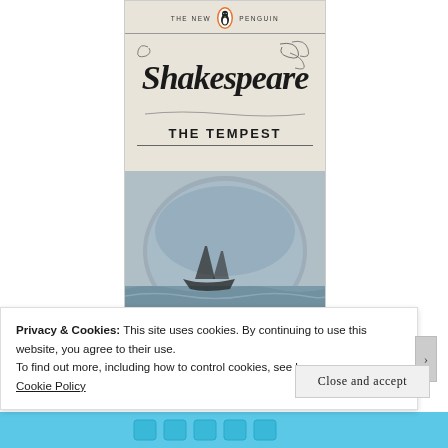[Figure (photo): Book cover of The New Penguin Shakespeare edition of The Tempest. Cream/off-white cover with calligraphic 'Shakespeare' title in black Gothic lettering with decorative flourishes, orange Penguin logo at top, bold sans-serif 'THE TEMPEST' subtitle, and a circular illustration of a stormy maritime scene at the bottom.]
Privacy & Cookies: This site uses cookies. By continuing to use this website, you agree to their use.
To find out more, including how to control cookies, see here:
Cookie Policy
Close and accept